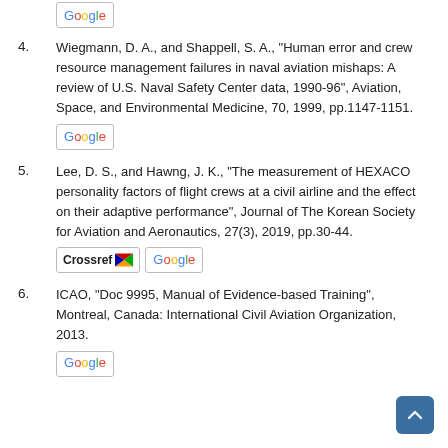4. Wiegmann, D. A., and Shappell, S. A., "Human error and crew resource management failures in naval aviation mishaps: A review of U.S. Naval Safety Center data, 1990-96", Aviation, Space, and Environmental Medicine, 70, 1999, pp.1147-1151.
5. Lee, D. S., and Hawng, J. K., "The measurement of HEXACO personality factors of flight crews at a civil airline and the effect on their adaptive performance", Journal of The Korean Society for Aviation and Aeronautics, 27(3), 2019, pp.30-44.
6. ICAO, "Doc 9995, Manual of Evidence-based Training", Montreal, Canada: International Civil Aviation Organization, 2013.